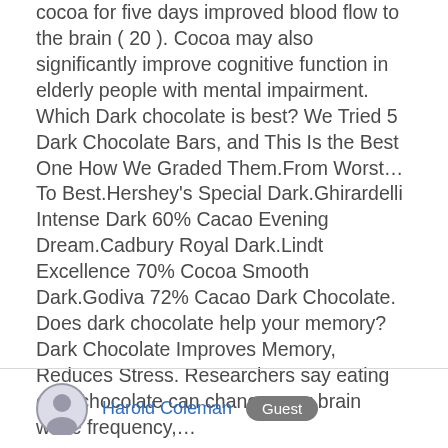cocoa for five days improved blood flow to the brain ( 20 ). Cocoa may also significantly improve cognitive function in elderly people with mental impairment. Which Dark chocolate is best? We Tried 5 Dark Chocolate Bars, and This Is the Best One How We Graded Them.From Worst… To Best.Hershey's Special Dark.Ghirardelli Intense Dark 60% Cacao Evening Dream.Cadbury Royal Dark.Lindt Excellence 70% Cocoa Smooth Dark.Godiva 72% Cacao Dark Chocolate. Does dark chocolate help your memory? Dark Chocolate Improves Memory, Reduces Stress. Researchers say eating dark chocolate can change your brain wave frequency,…
Harold Coleman  Guest